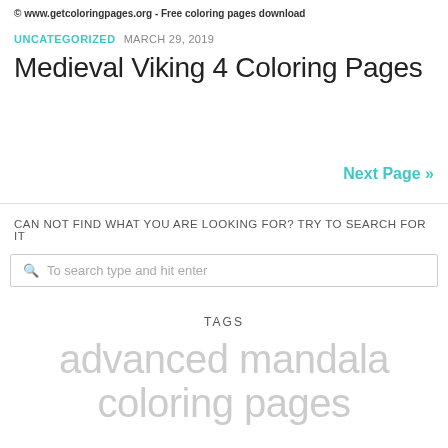© www.getcoloringpages.org - Free coloring pages download
UNCATEGORIZED  MARCH 29, 2019
Medieval Viking 4 Coloring Pages
Next Page »
CAN NOT FIND WHAT YOU ARE LOOKING FOR? TRY TO SEARCH FOR IT
To search type and hit enter
TAGS
advanced mandala coloring pages